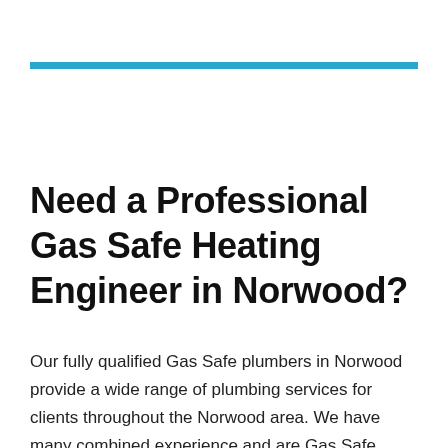[Figure (other): Horizontal teal/blue decorative rule bar]
Need a Professional Gas Safe Heating Engineer in Norwood?
Our fully qualified Gas Safe plumbers in Norwood provide a wide range of plumbing services for clients throughout the Norwood area. We have many combined experience and are Gas Safe registered so you can be assured of a